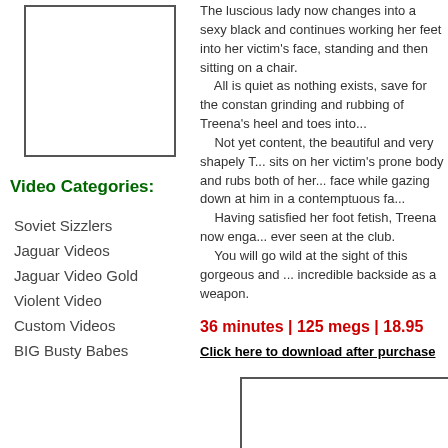[Figure (photo): Thumbnail image placeholder (white box with border) in left column]
Video Categories:
Soviet Sizzlers
Jaguar Videos
Jaguar Video Gold
Violent Video
Custom Videos
BIG Busty Babes
The luscious lady now changes into a sexy black and continues working her feet into her victim's face, standing and then sitting on a chair.
    All is quiet as nothing exists, save for the constant grinding and rubbing of Treena's heel and toes into...
    Not yet content, the beautiful and very shapely T... sits on her victim's prone body and rubs both of her... face while gazing down at him in a contemptuous fa...
    Having satisfied her foot fetish, Treena now enga... ever seen at the club.
    You will go wild at the sight of this gorgeous and... incredible backside as a weapon.
36 minutes | 125 megs | 18.95
Click here to download after purchase
[Figure (photo): Second thumbnail image placeholder (white box with border) in lower right area]